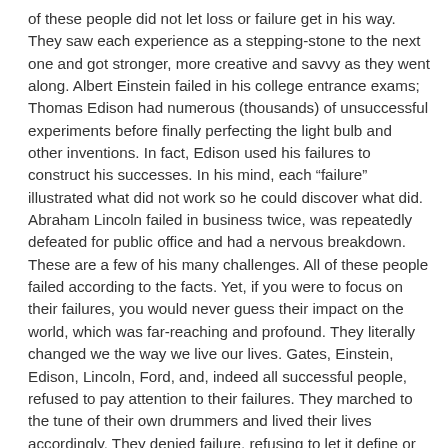of these people did not let loss or failure get in his way. They saw each experience as a stepping-stone to the next one and got stronger, more creative and savvy as they went along. Albert Einstein failed in his college entrance exams; Thomas Edison had numerous (thousands) of unsuccessful experiments before finally perfecting the light bulb and other inventions. In fact, Edison used his failures to construct his successes. In his mind, each “failure” illustrated what did not work so he could discover what did. Abraham Lincoln failed in business twice, was repeatedly defeated for public office and had a nervous breakdown. These are a few of his many challenges. All of these people failed according to the facts. Yet, if you were to focus on their failures, you would never guess their impact on the world, which was far-reaching and profound. They literally changed we the way we live our lives. Gates, Einstein, Edison, Lincoln, Ford, and, indeed all successful people, refused to pay attention to their failures. They marched to the tune of their own drummers and lived their lives accordingly. They denied failure, refusing to let it define or stop them. The thing that holds people back is “what they think they aren’t.” (I’m not smart, inventive, social, graceful, clever, witty, etc.) If you turn this around, you can